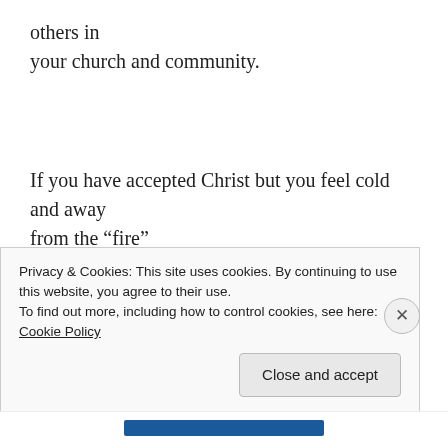others in
your church and community.
If you have accepted Christ but you feel cold and away from the “fire”
and your personal campfire is barely smoldering, then
James 4: 8 has
an answer for you: “Come close to God and he will come
Privacy & Cookies: This site uses cookies. By continuing to use this website, you agree to their use.
To find out more, including how to control cookies, see here: Cookie Policy
Close and accept